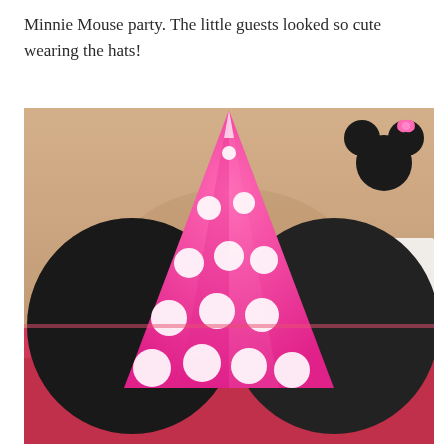Minnie Mouse party. The little guests looked so cute wearing the hats!
[Figure (photo): Close-up photograph of a pink polka dot Minnie Mouse party hat with two large black circular ears attached, sitting on a table with pink frosted cookies in the background and a Minnie Mouse silhouette decoration visible in the upper right corner.]